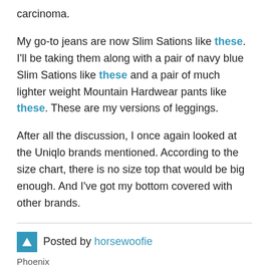carcinoma.
My go-to jeans are now Slim Sations like these. I'll be taking them along with a pair of navy blue Slim Sations like these and a pair of much lighter weight Mountain Hardwear pants like these. These are my versions of leggings.
After all the discussion, I once again looked at the Uniqlo brands mentioned. According to the size chart, there is no size top that would be big enough. And I've got my bottom covered with other brands.
Posted by horsewoofie
Phoenix
05/04/18 09:10 PM
1702 posts
Lo, I've got the age spots, veins and creeping skin after living in AZ for 33 years, doing lots of boating in the NW before that and working retail for many years. Not to mention a bout with